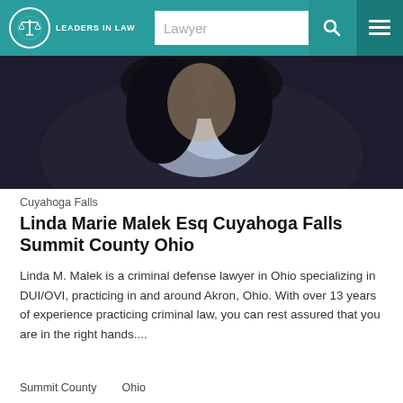Leaders in Law | Lawyer search
[Figure (photo): Close-up photo of a woman in a dark jacket with a light blue/white scarf, professional portrait]
Cuyahoga Falls
Linda Marie Malek Esq Cuyahoga Falls Summit County Ohio
Linda M. Malek is a criminal defense lawyer in Ohio specializing in DUI/OVI, practicing in and around Akron, Ohio. With over 13 years of experience practicing criminal law, you can rest assured that you are in the right hands....
Summit County   Ohio